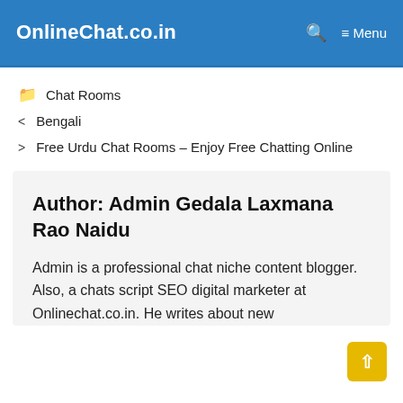OnlineChat.co.in  🔍  ≡ Menu
📁  Chat Rooms
< Bengali
> Free Urdu Chat Rooms – Enjoy Free Chatting Online
Author: Admin Gedala Laxmana Rao Naidu
Admin is a professional chat niche content blogger. Also, a chats script SEO digital marketer at Onlinechat.co.in. He writes about new